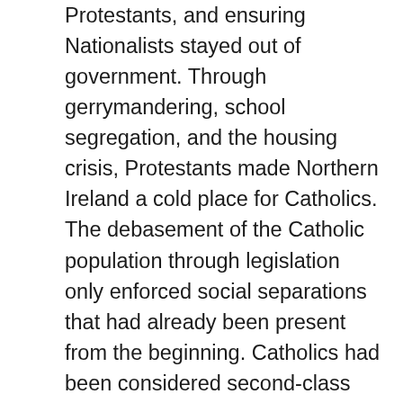Protestants, and ensuring Nationalists stayed out of government. Through gerrymandering, school segregation, and the housing crisis, Protestants made Northern Ireland a cold place for Catholics. The debasement of the Catholic population through legislation only enforced social separations that had already been present from the beginning. Catholics had been considered second-class citizens or worse since the English conquests, separated in all aspects of life, perhaps most prominently in the late 1800s–early 1900s with Dublin tenement life. These societal partitions created fear and anxiety of the other culture, which surfaced in Northern Ireland's legislation at the beginning of the 1920s. Protestants and Catholics became more self-contained than before, which only increased unease, and presented itself in further regulations and in physical structures like the peace lines. Peace walls contributed to dissociations even further, because there were now physical dividers between Protestants and Catholics...